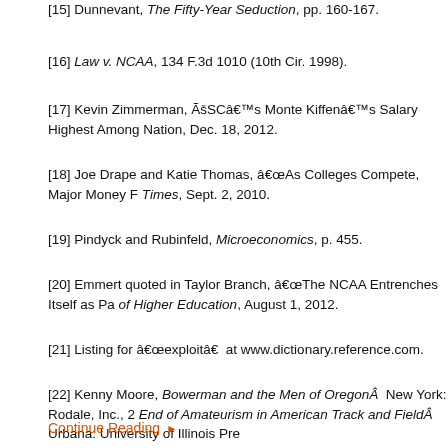[15] Dunnevant, The Fifty-Year Seduction, pp. 160-167.
[16] Law v. NCAA, 134 F.3d 1010 (10th Cir. 1998).
[17] Kevin Zimmerman, ÃšSCâ€™s Monte Kiffenâ€™s Salary Highest Among Nation, Dec. 18, 2012.
[18] Joe Drape and Katie Thomas, â€œAs Colleges Compete, Major Money F Times, Sept. 2, 2010.
[19] Pindyck and Rubinfeld, Microeconomics, p. 455.
[20] Emmert quoted in Taylor Branch, â€œThe NCAA Entrenches Itself as Pa of Higher Education, August 1, 2012.
[21] Listing for â€œexploitâ€ at www.dictionary.reference.com.
[22] Kenny Moore, Bowerman and the Men of Oregon Â New York: Rodale, Inc., 2 End of Amateurism in American Track and Field Â Urbana: University of Illinois Pre
Continue Reading ▶